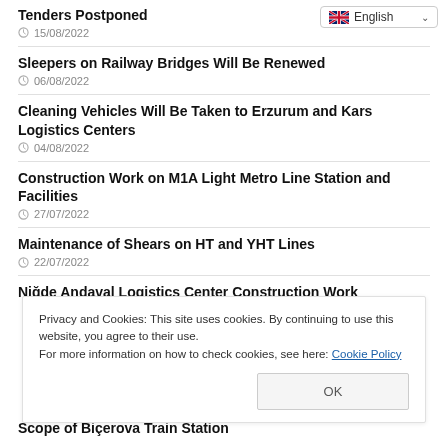Tenders Postponed
15/08/2022
Sleepers on Railway Bridges Will Be Renewed
06/08/2022
Cleaning Vehicles Will Be Taken to Erzurum and Kars Logistics Centers
04/08/2022
Construction Work on M1A Light Metro Line Station and Facilities
27/07/2022
Maintenance of Shears on HT and YHT Lines
22/07/2022
Niğde Andaval Logistics Center Construction Work
Privacy and Cookies: This site uses cookies. By continuing to use this website, you agree to their use.
For more information on how to check cookies, see here: Cookie Policy
Scope of Biçerova Train Station